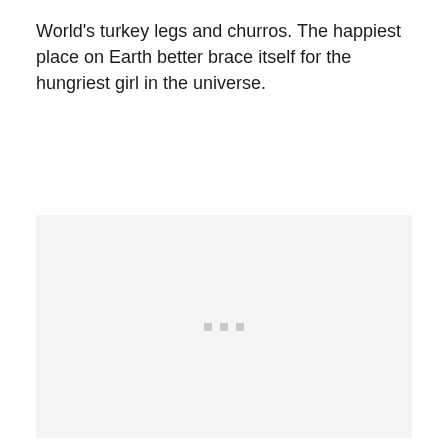World's turkey legs and churros. The happiest place on Earth better brace itself for the hungriest girl in the universe.
[Figure (photo): A light gray placeholder image area with three small gray dots centered in the lower-middle portion.]